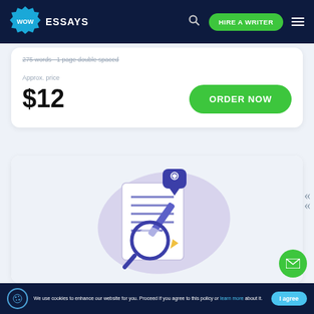WOW ESSAYS — HIRE A WRITER
275 words · 1 page double spaced
Approx. price
$12
ORDER NOW
[Figure (illustration): Illustration of a document with lines of text, a magnifying glass, a pencil, and a chat bubble with a heart icon, on a light purple blob background]
We use cookies to enhance our website for you. Proceed if you agree to this policy or learn more about it.
I agree